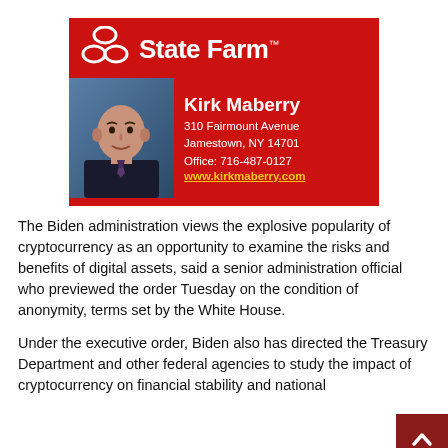[Figure (logo): State Farm advertisement banner featuring the State Farm logo with three ovals, agent Kirk Maberry's photo, name, address at 310 Fairmount Avenue, Jamestown NY 14701, phone 716-487-0127, and website www.kirkmaberry.com on a red background]
The Biden administration views the explosive popularity of cryptocurrency as an opportunity to examine the risks and benefits of digital assets, said a senior administration official who previewed the order Tuesday on the condition of anonymity, terms set by the White House.
Under the executive order, Biden also has directed the Treasury Department and other federal agencies to study the impact of cryptocurrency on financial stability and national